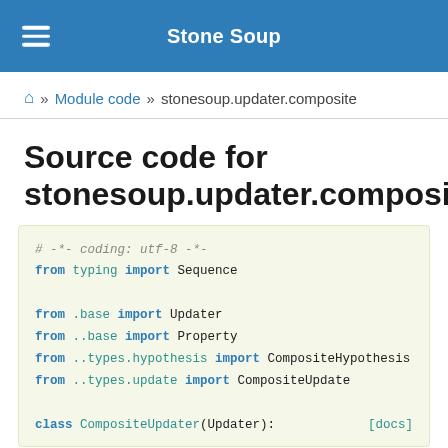Stone Soup
🏠 » Module code » stonesoup.updater.composite
Source code for stonesoup.updater.composite
# -*- coding: utf-8 -*-
from typing import Sequence

from .base import Updater
from ..base import Property
from ..types.hypothesis import CompositeHypothesis
from ..types.update import CompositeUpdate

class CompositeUpdater(Updater):    [docs]